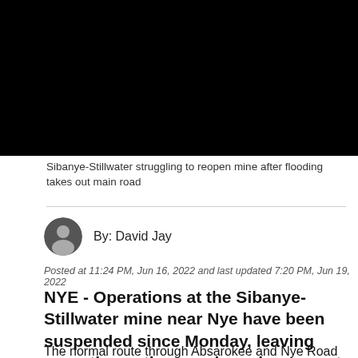[Figure (screenshot): Video player screenshot with black content area, showing a news broadcast interface with 'BUTTE' location label visible at top]
Sibanye-Stillwater struggling to reopen mine after flooding takes out main road
By: David Jay
Posted at 11:24 PM, Jun 16, 2022 and last updated 7:20 PM, Jun 19, 2022
NYE - Operations at the Sibanye-Stillwater mine near Nye have been suspended since Monday, leaving more than a thousand employees out of work.
The normal route through Absarokee and Nye Road is